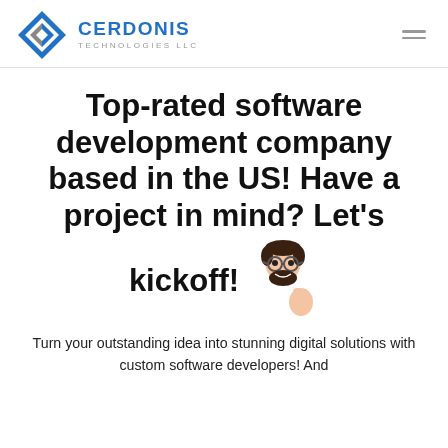CERDONIS TECHNOLOGIES LLC
Top-rated software development company based in the US! Have a project in mind? Let's kickoff!
Turn your outstanding idea into stunning digital solutions with custom software developers! And